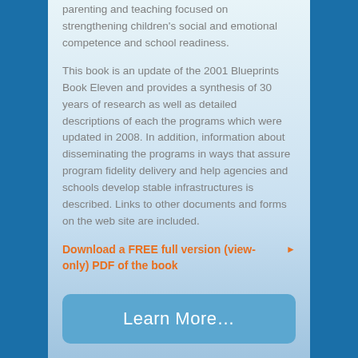parenting and teaching focused on strengthening children's social and emotional competence and school readiness.
This book is an update of the 2001 Blueprints Book Eleven and provides a synthesis of 30 years of research as well as detailed descriptions of each the programs which were updated in 2008. In addition, information about disseminating the programs in ways that assure program fidelity delivery and help agencies and schools develop stable infrastructures is described. Links to other documents and forms on the web site are included.
Download a FREE full version (view-only) PDF of the book
Learn More…